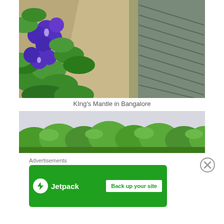[Figure (photo): Photo of purple King's Mantle flowers with green leaves against a concrete pathway and ridged drain/gutter surface, taken from above in Bangalore]
KIng's Mantle in Bangalore
[Figure (photo): Photo of green leafy plants/shrubs against a light grey wall, viewed from above]
Advertisements
[Figure (other): Jetpack advertisement banner: green background with Jetpack logo (lightning bolt in white circle) and 'Back up your site' white button]